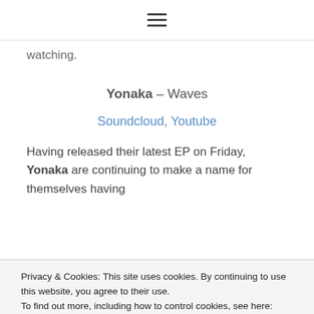☰
watching.
Yonaka – Waves
Soundcloud, Youtube
Having released their latest EP on Friday, Yonaka are continuing to make a name for themselves having
Privacy & Cookies: This site uses cookies. By continuing to use this website, you agree to their use.
To find out more, including how to control cookies, see here: Cookie Policy
Nice one. Got it.
some pop tracks but they add a darkness to the track